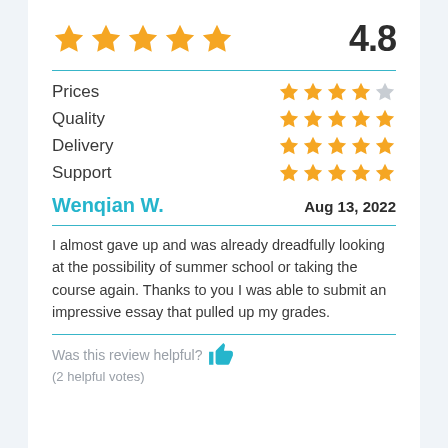[Figure (infographic): Five large orange stars rating with 4.8 overall score]
4.8
Prices — 4 stars out of 5
Quality — 5 stars out of 5
Delivery — 5 stars out of 5
Support — 5 stars out of 5
Wenqian W.
Aug 13, 2022
I almost gave up and was already dreadfully looking at the possibility of summer school or taking the course again. Thanks to you I was able to submit an impressive essay that pulled up my grades.
Was this review helpful? (2 helpful votes)